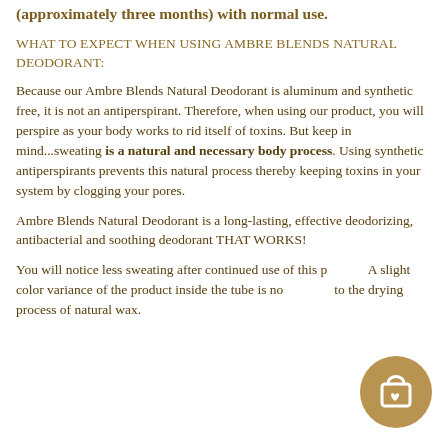Natural Deodorant, our two ounce tube is long lasting (approximately three months) with normal use.
WHAT TO EXPECT WHEN USING AMBRE BLENDS NATURAL DEODORANT:
Because our Ambre Blends Natural Deodorant is aluminum and synthetic free, it is not an antiperspirant. Therefore, when using our product, you will perspire as your body works to rid itself of toxins. But keep in mind...sweating is a natural and necessary body process. Using synthetic antiperspirants prevents this natural process thereby keeping toxins in your system by clogging your pores.
Ambre Blends Natural Deodorant is a long-lasting, effective deodorizing, antibacterial and soothing deodorant THAT WORKS!
You will notice less sweating after continued use of this p... A slight color variance of the product inside the tube is no... to the drying process of natural wax.
[Figure (illustration): Circular golden cart/shopping bag icon button in bottom right corner]